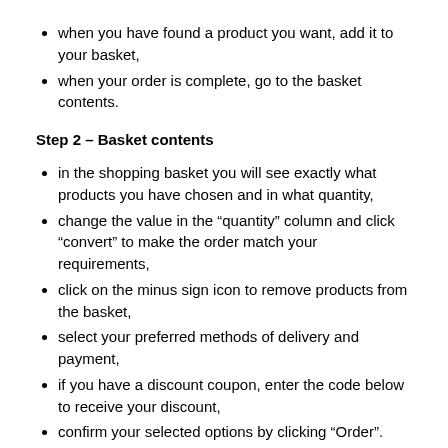when you have found a product you want, add it to your basket,
when your order is complete, go to the basket contents.
Step 2 – Basket contents
in the shopping basket you will see exactly what products you have chosen and in what quantity,
change the value in the “quantity” column and click “convert” to make the order match your requirements,
click on the minus sign icon to remove products from the basket,
select your preferred methods of delivery and payment,
if you have a discount coupon, enter the code below to receive your discount,
confirm your selected options by clicking “Order”.
Step 3 – Placing an order